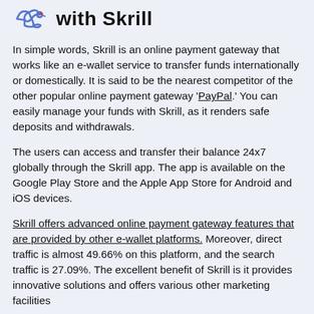with Skrill
In simple words, Skrill is an online payment gateway that works like an e-wallet service to transfer funds internationally or domestically. It is said to be the nearest competitor of the other popular online payment gateway 'PayPal.' You can easily manage your funds with Skrill, as it renders safe deposits and withdrawals.
The users can access and transfer their balance 24x7 globally through the Skrill app. The app is available on the Google Play Store and the Apple App Store for Android and iOS devices.
Skrill offers advanced online payment gateway features that are provided by other e-wallet platforms. Moreover, direct traffic is almost 49.66% on this platform, and the search traffic is 27.09%. The excellent benefit of Skrill is it provides innovative solutions and offers various other marketing facilities